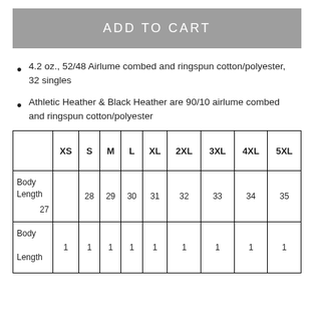ADD TO CART
4.2 oz., 52/48 Airlume combed and ringspun cotton/polyester, 32 singles
Athletic Heather & Black Heather are 90/10 airlume combed and ringspun cotton/polyester
|  | XS | S | M | L | XL | 2XL | 3XL | 4XL | 5XL |
| --- | --- | --- | --- | --- | --- | --- | --- | --- | --- |
| Body Length | 27 | 28 | 29 | 30 | 31 | 32 | 33 | 34 | 35 |
| Body Length | 1 | 1 | 1 | 1 | 1 | 1 | 1 | 1 | 1 |